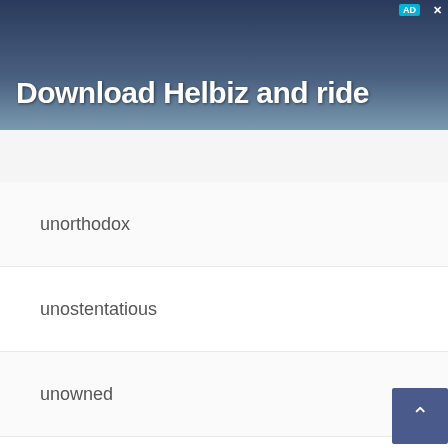[Figure (screenshot): Advertisement banner for Helbiz app with text 'Download Helbiz and ride' over a dark photo background]
unorthodox
unostentatious
unowned
unoxygenated
unpackaged
unpaid
unpainful